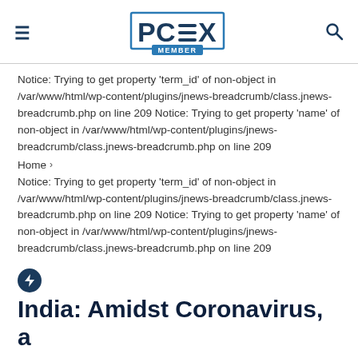PCEX MEMBER
Notice: Trying to get property 'term_id' of non-object in /var/www/html/wp-content/plugins/jnews-breadcrumb/class.jnews-breadcrumb.php on line 209 Notice: Trying to get property 'name' of non-object in /var/www/html/wp-content/plugins/jnews-breadcrumb/class.jnews-breadcrumb.php on line 209
Home ›
Notice: Trying to get property 'term_id' of non-object in /var/www/html/wp-content/plugins/jnews-breadcrumb/class.jnews-breadcrumb.php on line 209 Notice: Trying to get property 'name' of non-object in /var/www/html/wp-content/plugins/jnews-breadcrumb/class.jnews-breadcrumb.php on line 209
India: Amidst Coronavirus, a